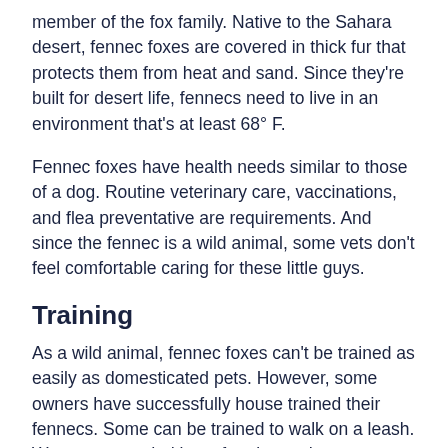member of the fox family. Native to the Sahara desert, fennec foxes are covered in thick fur that protects them from heat and sand. Since they're built for desert life, fennecs need to live in an environment that's at least 68° F.
Fennec foxes have health needs similar to those of a dog. Routine veterinary care, vaccinations, and flea preventative are requirements. And since the fennec is a wild animal, some vets don't feel comfortable caring for these little guys.
Training
As a wild animal, fennec foxes can't be trained as easily as domesticated pets. However, some owners have successfully house trained their fennecs. Some can be trained to walk on a leash. We recommended lots of praise and treats to encourage these behaviors.